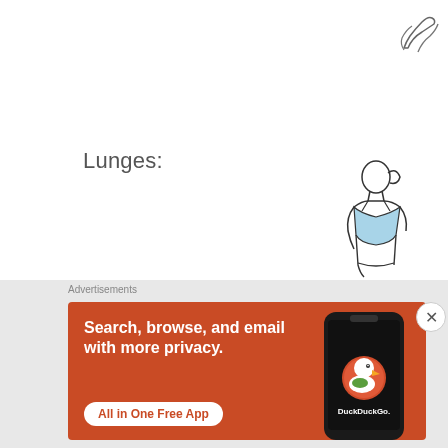[Figure (illustration): Partial illustration of legs/feet at the top right corner of the page, showing a sketched outline of feet/shoes]
Lunges:
[Figure (illustration): Line illustration of a woman in athletic wear (sports bra) with hair in a ponytail, shown from the waist up, positioned at the bottom right of the content area]
Advertisements
[Figure (other): DuckDuckGo advertisement banner with orange background. Text: Search, browse, and email with more privacy. All in One Free App. Shows DuckDuckGo logo on a phone mockup.]